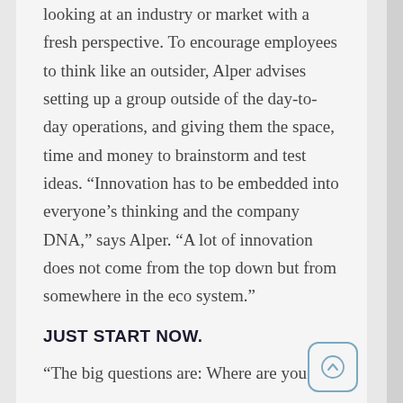looking at an industry or market with a fresh perspective. To encourage employees to think like an outsider, Alper advises setting up a group outside of the day-to-day operations, and giving them the space, time and money to brainstorm and test ideas. “Innovation has to be embedded into everyone’s thinking and the company DNA,” says Alper. “A lot of innovation does not come from the top down but from somewhere in the eco system.”
JUST START NOW.
“The big questions are: Where are you?